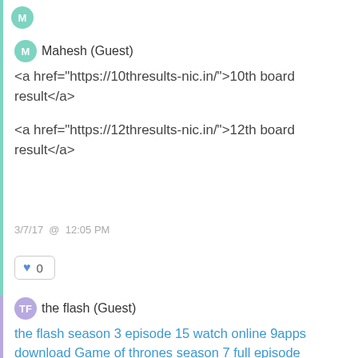Mahesh (Guest)
<a href="https://10thresults-nic.in/">10th board result</a>

<a href="https://12thresults-nic.in/">12th board result</a>
3/7/17 @ 12:05 PM
♥ 0
the flash (Guest)
the flash season 3 episode 15 watch online 9apps download Game of thrones season 7 full episode